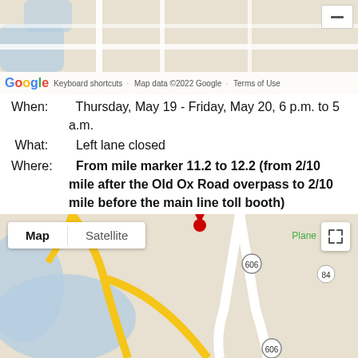[Figure (map): Top Google Maps satellite/road map view showing road intersections and streets]
When:   Thursday, May 19 - Friday, May 20, 6 p.m. to 5 a.m.
What:   Left lane closed
Where:  From mile marker 11.2 to 12.2 (from 2/10 mile after the Old Ox Road overpass to 2/10 mile before the main line toll booth)
Why:    Road work
[Figure (map): Bottom Google Maps road map showing route 606, 775, Washington-Dulles area, Old County Road area with Map/Satellite tab controls]